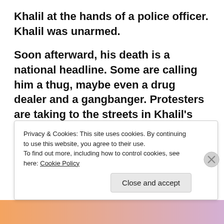Khalil at the hands of a police officer. Khalil was unarmed.
Soon afterward, his death is a national headline. Some are calling him a thug, maybe even a drug dealer and a gangbanger. Protesters are taking to the streets in Khalil's name. Some cops and the local drug lord try to intimidate Starr
Privacy & Cookies: This site uses cookies. By continuing to use this website, you agree to their use. To find out more, including how to control cookies, see here: Cookie Policy
Close and accept